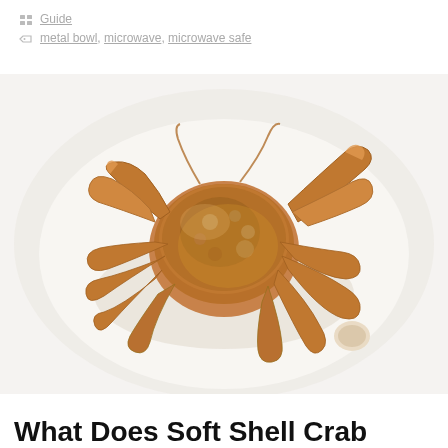Guide
metal bowl, microwave, microwave safe
[Figure (photo): A fried soft shell crab served on white paper/wrapper, viewed from above. The crab is golden-brown and crispy with all legs extended, on a white background.]
What Does Soft Shell Crab